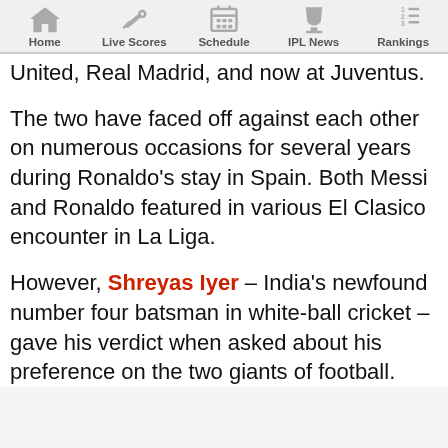Home | Live Scores | Schedule | IPL News | Rankings
United, Real Madrid, and now at Juventus.
The two have faced off against each other on numerous occasions for several years during Ronaldo's stay in Spain. Both Messi and Ronaldo featured in various El Clasico encounter in La Liga.
However, Shreyas Iyer – India's newfound number four batsman in white-ball cricket – gave his verdict when asked about his preference on the two giants of football.